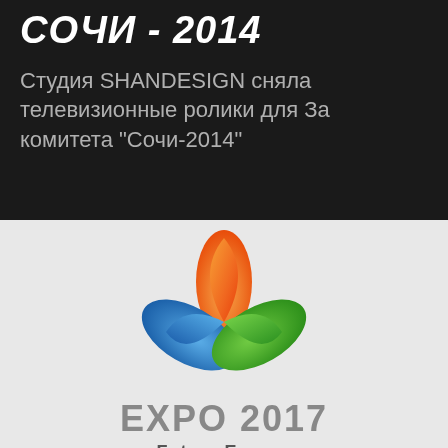СОЧИ - 2014
Студия SHANDESIGN сняла телевизионные ролики для Заявочного комитета "Сочи-2014"
[Figure (logo): EXPO 2017 Future Energy logo with three colored leaf/flame shapes (orange, blue, green) arranged in a pinwheel pattern, with text EXPO 2017 and Future Energy below]